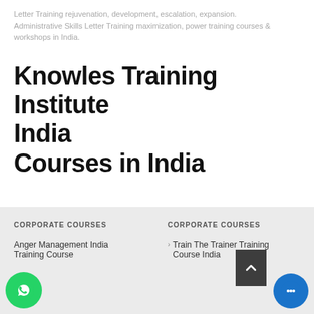Letter Training rejuvenation, development, escalation, expansion. Administrative Skills Letter Training maximization, power training courses & workshops in India.
Knowles Training Institute India
Courses in India
CORPORATE COURSES
CORPORATE COURSES
Anger Management India Training Course
Train The Trainer Training Course India